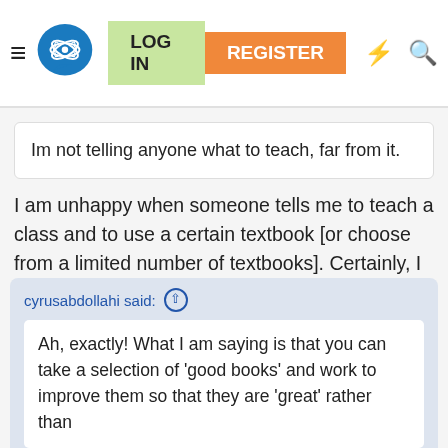[Figure (screenshot): Navigation bar with hamburger menu, atom/brain logo, LOG IN (green) and REGISTER (orange) buttons, lightning bolt icon, and search icon]
Im not telling anyone what to teach, far from it.
I am unhappy when someone tells me to teach a class and to use a certain textbook [or choose from a limited number of textbooks]. Certainly, I understand if I am new to the setup... but after a while, I would be unhappy if my choices are limited.
cyrusabdollahi said: ↑
Ah, exactly! What I am saying is that you can take a selection of 'good books' and work to improve them so that they are 'great' rather than